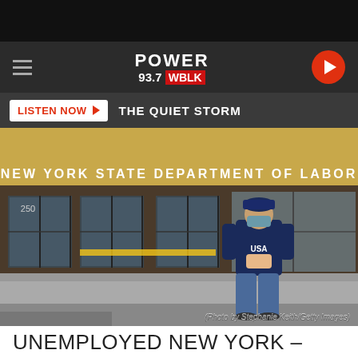[Figure (screenshot): Power 93.7 WBLK radio station website screenshot showing navigation bar with hamburger menu, Power 93.7 WBLK logo, and play button]
[Figure (photo): Photo of a person wearing a USA hoodie and cap with face mask standing in front of the New York State Department of Labor building entrance with glass doors. Photo credit: Stephanie Keith/Getty Images]
(Photo by Stephanie Keith/Getty Images)
UNEMPLOYED NEW YORK –